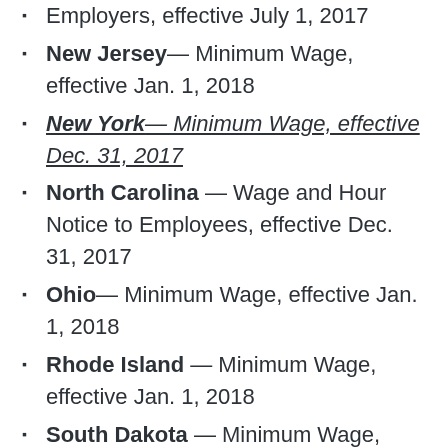Nevada — Rules to Observe by Employers, effective July 1, 2017
New Jersey— Minimum Wage, effective Jan. 1, 2018
New York— Minimum Wage, effective Dec. 31, 2017
North Carolina — Wage and Hour Notice to Employees, effective Dec. 31, 2017
Ohio— Minimum Wage, effective Jan. 1, 2018
Rhode Island — Minimum Wage, effective Jan. 1, 2018
South Dakota — Minimum Wage, effective Jan. 1, 2018